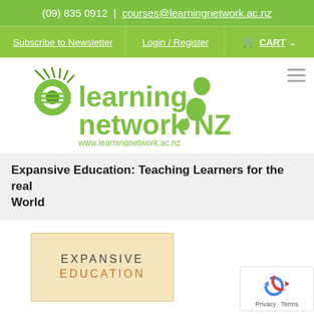(09) 835 0912 | courses@learningnetwork.ac.nz
Subscribe to Newsletter | Login / Register | CART
[Figure (logo): Learning Network NZ logo with green leaf/eye icon and New Zealand map silhouette, text: learning network NZ, www.learningnetwork.ac.nz]
Expansive Education: Teaching Learners for the real World
[Figure (illustration): Book cover with cream/tan background showing 'EXPANSIVE EDUCATION' text in large spaced letters, with 'EDUCATION' in orange-brown color below]
[Figure (other): Google reCAPTCHA badge showing circular arrow logo with Privacy and Terms links]